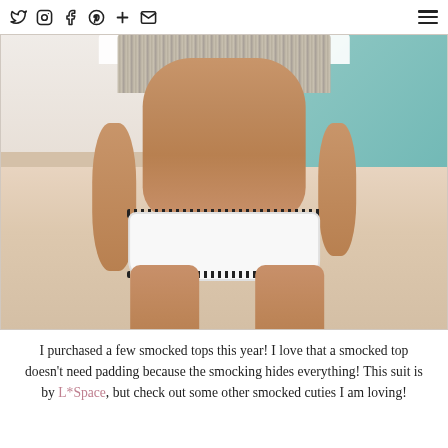Social media / blog navigation bar with icons: Twitter, Instagram, Facebook, Pinterest, Plus, Email, and hamburger menu
[Figure (photo): Close-up photo of a woman in a white bikini with black crochet trim standing on a sandy beach with turquoise ocean water in the background. The image shows her torso and legs, with a smocked/crochet crop top visible at the upper edge.]
I purchased a few smocked tops this year! I love that a smocked top doesn't need padding because the smocking hides everything! This suit is by L*Space, but check out some other smocked cuties I am loving!